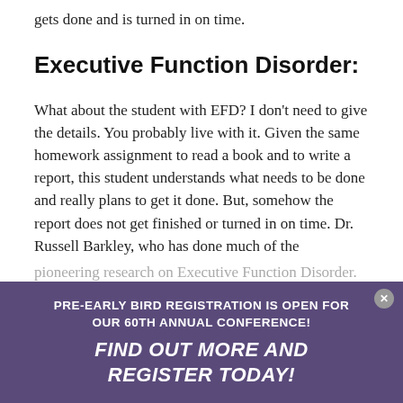gets done and is turned in on time.
Executive Function Disorder:
What about the student with EFD? I don't need to give the details. You probably live with it. Given the same homework assignment to read a book and to write a report, this student understands what needs to be done and really plans to get it done. But, somehow the report does not get finished or turned in on time. Dr. Russell Barkley, who has done much of the
pioneering research on Executive Function Disorder, ADHD, and other related conditions... not know why it is happening... does not get done...
PRE-EARLY BIRD REGISTRATION IS OPEN FOR OUR 60TH ANNUAL CONFERENCE!
FIND OUT MORE AND REGISTER TODAY!
You know these kids. Maybe you have one, or you